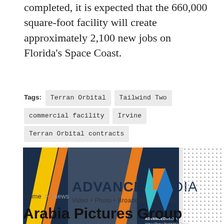completed, it is expected that the 660,000 square-foot facility will create approximately 2,100 new jobs on Florida's Space Coast.
Tags: Terran Orbital  Tailwind Two  commercial facility  Irvine  Terran Orbital contracts
[Figure (advertisement): Advanced Media banner ad. Dark navy blue background with yellow and orange diagonal accent stripes. Text reads 'ADVANCEDMEDIA Video • Photo • Broadcast • Cinema' with a triangular logo on the right in teal, blue, and orange. Small dotted pattern to the right of the banner.]
Home > News
Arabia Pictures Group